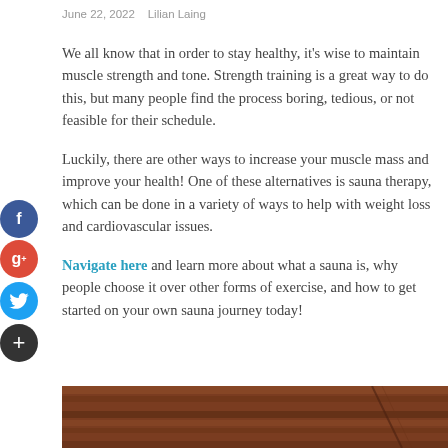June 22, 2022   Lilian Laing
We all know that in order to stay healthy, it's wise to maintain muscle strength and tone. Strength training is a great way to do this, but many people find the process boring, tedious, or not feasible for their schedule.
Luckily, there are other ways to increase your muscle mass and improve your health! One of these alternatives is sauna therapy, which can be done in a variety of ways to help with weight loss and cardiovascular issues.
Navigate here and learn more about what a sauna is, why people choose it over other forms of exercise, and how to get started on your own sauna journey today!
[Figure (photo): Wooden sauna interior, warm brown wood paneling visible at bottom of page]